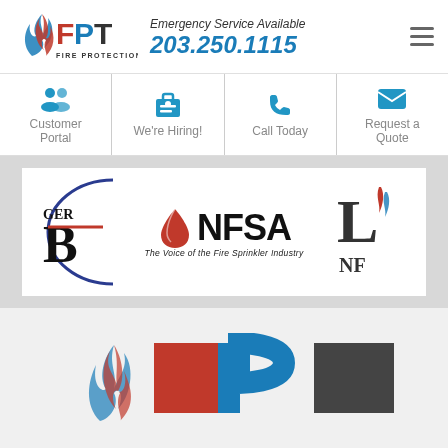[Figure (logo): FPT Fire Protection Team logo with flame icon]
Emergency Service Available
203.250.1115
[Figure (infographic): Navigation icons: Customer Portal, We're Hiring!, Call Today, Request a Quote]
[Figure (logo): NFSA - The Voice of the Fire Sprinkler Industry logo, with partial logos on left and right]
[Figure (logo): Partial FPT Fire Protection Team logo at bottom of page]